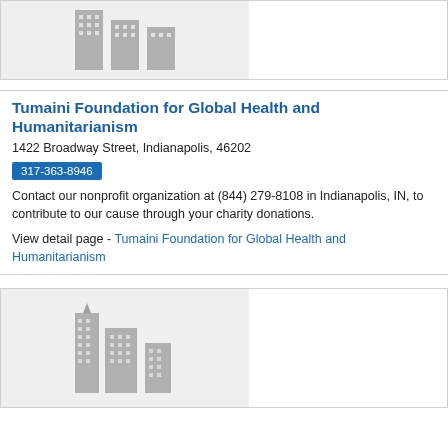[Figure (illustration): Placeholder building icon — gray silhouette of city buildings on light gray background (top partial card)]
Tumaini Foundation for Global Health and Humanitarianism
1422 Broadway Street, Indianapolis, 46202
317-363-8946
Contact our nonprofit organization at (844) 279-8108 in Indianapolis, IN, to contribute to our cause through your charity donations.
View detail page - Tumaini Foundation for Global Health and Humanitarianism
[Figure (illustration): Placeholder building icon — gray silhouette of city buildings on light gray background (bottom card)]